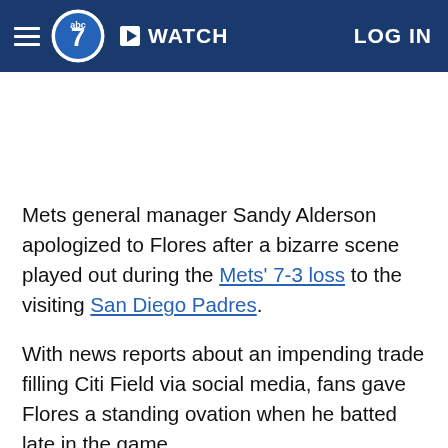ABC7 WATCH LOG IN
[Figure (other): Advertisement / blank white space area]
Mets general manager Sandy Alderson apologized to Flores after a bizarre scene played out during the Mets' 7-3 loss to the visiting San Diego Padres.
With news reports about an impending trade filling Citi Field via social media, fans gave Flores a standing ovation when he batted late in the game.